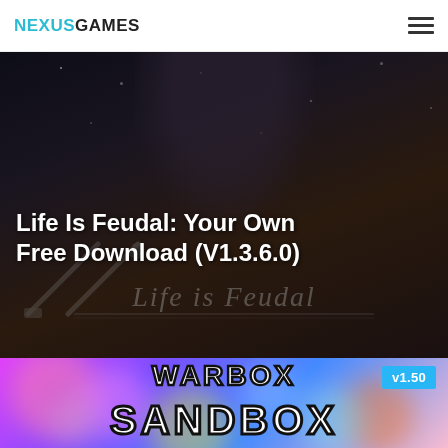NEXUSGAMES
Life Is Feudal: Your Own Free Download (V1.3.6.0)
[Figure (screenshot): Dark fantasy game screenshot for Life Is Feudal: Your Own, showing a dark atmospheric background with the stylized 'Life is Feudal' logo and crossed tools/weapons silhouette]
[Figure (screenshot): Warbox Sandbox game image showing colorful bokeh/blurred background in pink, purple and blue hues with WARBOX text at top (partially visible) and SANDBOX text in large bold outlined font, with v1.50 version badge in blue in upper right corner]